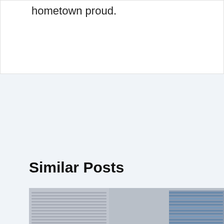hometown proud.
Similar Posts
[Figure (photo): A young man in white athletic clothing standing in front of a large stadium with rows of blue and grey seats visible in the background.]